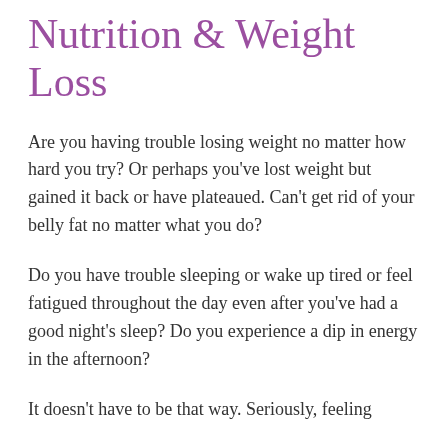Nutrition & Weight Loss
Are you having trouble losing weight no matter how hard you try? Or perhaps you’ve lost weight but gained it back or have plateaued. Can’t get rid of your belly fat no matter what you do?
Do you have trouble sleeping or wake up tired or feel fatigued throughout the day even after you’ve had a good night’s sleep? Do you experience a dip in energy in the afternoon?
It doesn’t have to be that way. Seriously, feeling